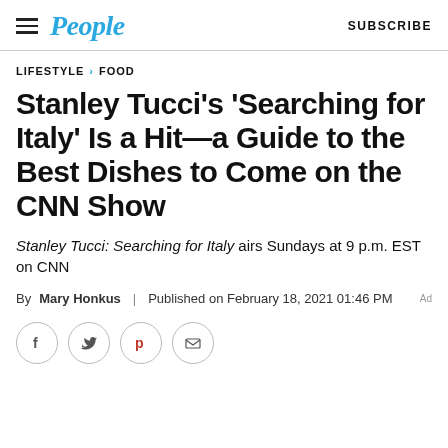People — SUBSCRIBE
LIFESTYLE > FOOD
Stanley Tucci's 'Searching for Italy' Is a Hit—a Guide to the Best Dishes to Come on the CNN Show
Stanley Tucci: Searching for Italy airs Sundays at 9 p.m. EST on CNN
By Mary Honkus | Published on February 18, 2021 01:46 PM
[Figure (other): Social sharing icons: Facebook, Twitter, Pinterest, Email]